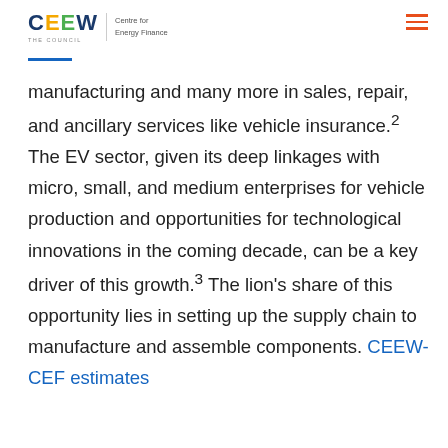CEEW | Centre for Energy Finance
manufacturing and many more in sales, repair, and ancillary services like vehicle insurance.2 The EV sector, given its deep linkages with micro, small, and medium enterprises for vehicle production and opportunities for technological innovations in the coming decade, can be a key driver of this growth.3 The lion's share of this opportunity lies in setting up the supply chain to manufacture and assemble components. CEEW-CEF estimates